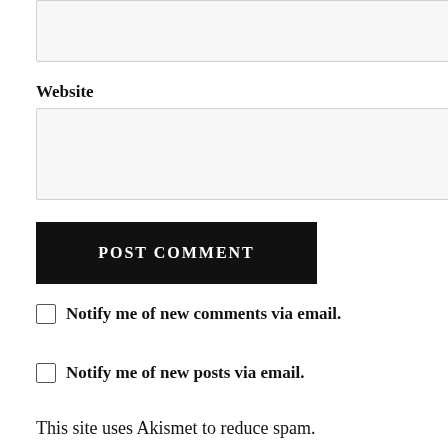[Figure (screenshot): Top truncated input box (partial, cut off at top of page)]
Website
[Figure (screenshot): Website input text field (empty, light gray background)]
POST COMMENT
Notify me of new comments via email.
Notify me of new posts via email.
This site uses Akismet to reduce spam.